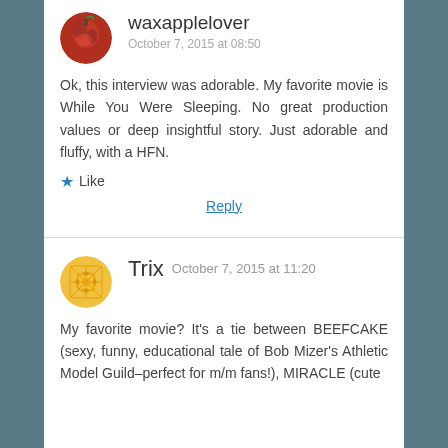waxapplelover
October 7, 2015 at 08:50
Ok, this interview was adorable. My favorite movie is While You Were Sleeping. No great production values or deep insightful story. Just adorable and fluffy, with a HFN.
Like
Reply
Trix  October 7, 2015 at 11:20
My favorite movie? It's a tie between BEEFCAKE (sexy, funny, educational tale of Bob Mizer's Athletic Model Guild–perfect for m/m fans!), MIRACLE (cute